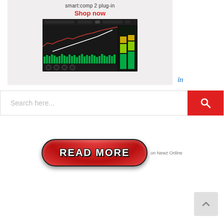[Figure (screenshot): Advertisement for smart:comp 2 plug-in showing 'Shop now' text in red and a dark software UI screenshot of the audio compressor plugin with waveform display and green bar meters. LinkedIn icon visible in corner.]
[Figure (screenshot): Search bar with placeholder text 'Search here...' and a red search button with magnifying glass icon on the right.]
[Figure (other): Red oval 'READ MORE' button with black outline and white bold text, followed by 'on Newz Online' text in grey.]
[Figure (other): Grey scroll-to-top chevron button in bottom right corner.]